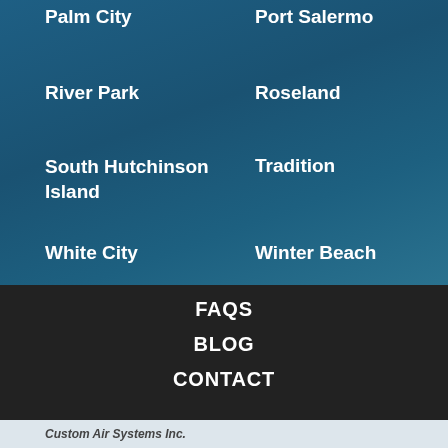Palm City
Port Salermo
River Park
Roseland
South Hutchinson Island
Tradition
White City
Winter Beach
FAQS
BLOG
CONTACT
Custom Air Systems Inc.